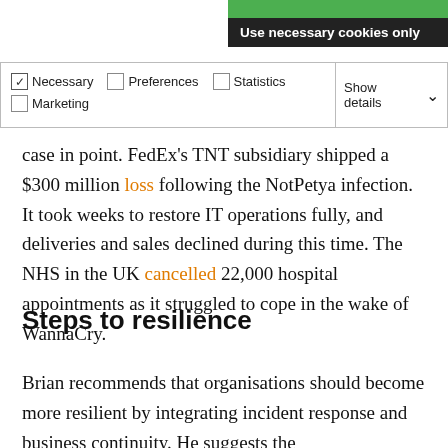Use necessary cookies only
[Figure (screenshot): Cookie consent panel with checkboxes for Necessary (checked), Preferences, Statistics, Marketing, and a Show details dropdown button]
case in point. FedEx's TNT subsidiary shipped a $300 million loss following the NotPetya infection. It took weeks to restore IT operations fully, and deliveries and sales declined during this time. The NHS in the UK cancelled 22,000 hospital appointments as it struggled to cope in the wake of WannaCry.
Steps to resilience
Brian recommends that organisations should become more resilient by integrating incident response and business continuity. He suggests the